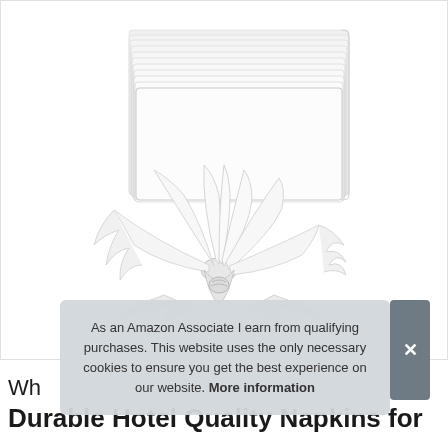[Figure (photo): Stack of white cloth napkins with one napkin folded decoratively in a fan/flower shape in front, displayed on a white background.]
As an Amazon Associate I earn from qualifying purchases. This website uses the only necessary cookies to ensure you get the best experience on our website. More information
Wh
Durable Hotel Quality Napkins for